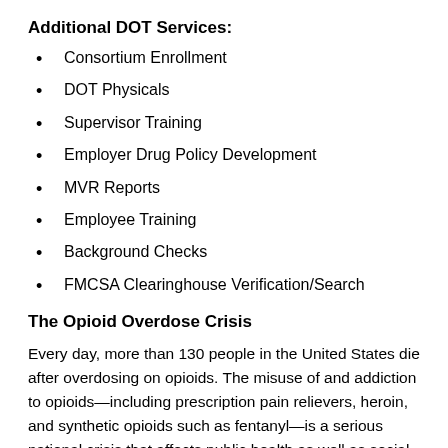Additional DOT Services:
Consortium Enrollment
DOT Physicals
Supervisor Training
Employer Drug Policy Development
MVR Reports
Employee Training
Background Checks
FMCSA Clearinghouse Verification/Search
The Opioid Overdose Crisis
Every day, more than 130 people in the United States die after overdosing on opioids. The misuse of and addiction to opioids—including prescription pain relievers, heroin, and synthetic opioids such as fentanyl—is a serious national crisis that affects public health as well as social and economic welfare. The Centers for Disease Control and